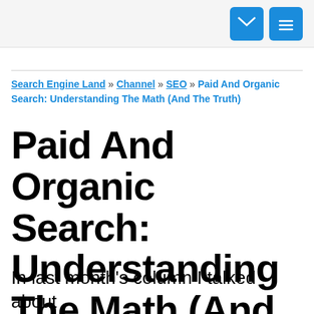[envelope icon] [menu icon]
Search Engine Land » Channel » SEO » Paid And Organic Search: Understanding The Math (And The Truth)
Paid And Organic Search: Understanding The Math (And The Truth)
In last month's column I talked about